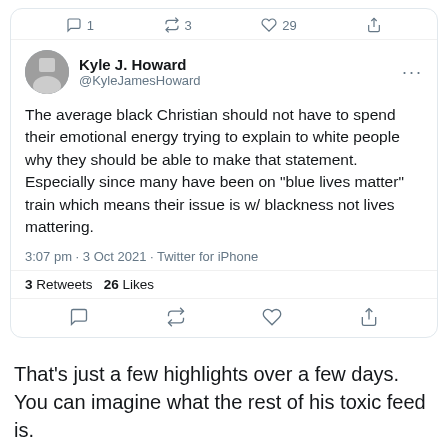[Figure (screenshot): Screenshot of a tweet by Kyle J. Howard (@KyleJamesHoward) with engagement icons at top showing 1 reply, 3 retweets, 29 likes, and a share icon. Tweet text reads: 'The average black Christian should not have to spend their emotional energy trying to explain to white people why they should be able to make that statement. Especially since many have been on "blue lives matter" train which means their issue is w/ blackness not lives mattering.' Timestamp: 3:07 pm · 3 Oct 2021 · Twitter for iPhone. Stats: 3 Retweets 26 Likes. Bottom action icons for reply, retweet, like, share.]
That’s just a few highlights over a few days. You can imagine what the rest of his toxic feed is.